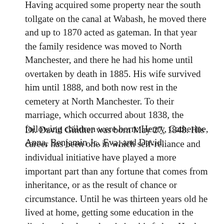Having acquired some property near the south tollgate on the canal at Wabash, he moved there and up to 1870 acted as gateman. In that year the family residence was moved to North Manchester, and there he had his home until overtaken by death in 1885. His wife survived him until 1888, and both now rest in the cemetery at North Manchester. To their marriage, which occurred about 1838, the following children were born: Henry, Catherine, Anna, Benjamin Jr., Eva, and David.
Dr. David Ginther was born May 27, 1848. His career has been one in which self-reliance and individual initiative have played a more important part than any fortune that comes from inheritance, or as the result of chance or circumstance. Until he was thirteen years old he lived at home, getting some education in the district schools, and assisting his father. He then started out for himself...